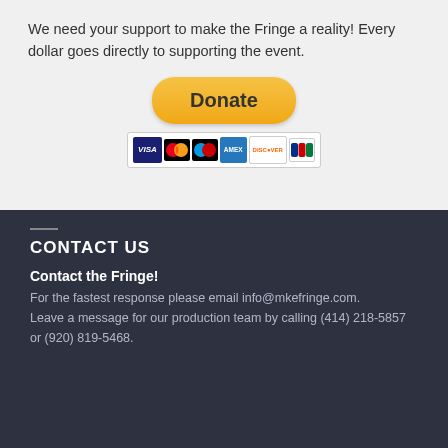We need your support to make the Fringe a reality! Every dollar goes directly to supporting the event.
[Figure (other): PayPal Donate button with payment card icons (Visa, Mastercard, PayPal, Amex, Discover, JCB)]
CONTACT US
Contact the Fringe!
For the fastest response please email info@mkefringe.com. Leave a message for our production team by calling (414) 218-5857 or (920) 819-5468.